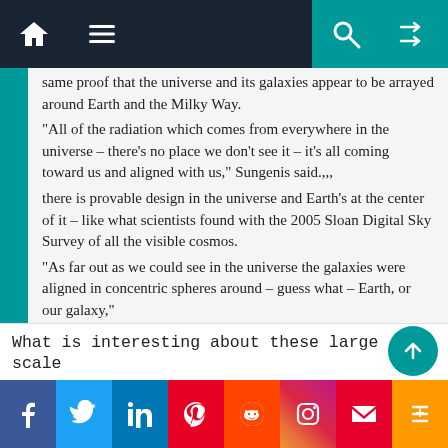Navigation bar with home, menu, search, and shuffle icons
same proof that the universe and its galaxies appear to be arrayed around Earth and the Milky Way.
"All of the radiation which comes from everywhere in the universe – there's no place we don't see it – it's all coming toward us and aligned with us," Sungenis said.,,,
there is provable design in the universe and Earth's at the center of it – like what scientists found with the 2005 Sloan Digital Sky Survey of all the visible cosmos.
"As far out as we could see in the universe the galaxies were aligned in concentric spheres around – guess what – Earth, or our galaxy,"
http://m.cbn.com/cbnnews/healt.....nd-Earth-/
What is interesting about these large scale
f  Twitter  in  Pinterest  Reddit  Instagram  Flipboard  +